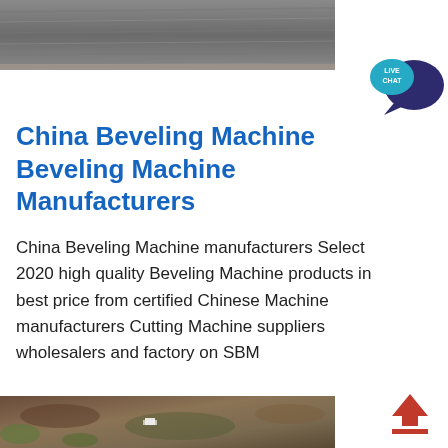[Figure (photo): Aerial or ground-level photo of a grey textured terrain or field]
[Figure (other): Live Chat speech bubble icon with dark blue and teal colors, text LIVE CHAT]
China Beveling Machine Beveling Machine Manufacturers
China Beveling Machine manufacturers Select 2020 high quality Beveling Machine products in best price from certified Chinese Machine manufacturers Cutting Machine suppliers wholesalers and factory on SBM
[Figure (photo): Aerial photo of rocky terrain with a small building and vehicle visible]
[Figure (other): Red upward arrow icon with a horizontal bar beneath it (scroll to top button)]